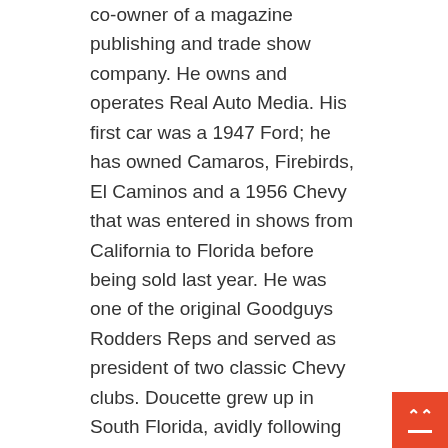co-owner of a magazine publishing and trade show company. He owns and operates Real Auto Media. His first car was a 1947 Ford; he has owned Camaros, Firebirds, El Caminos and a 1956 Chevy that was entered in shows from California to Florida before being sold last year. He was one of the original Goodguys Rodders Reps and served as president of two classic Chevy clubs. Doucette grew up in South Florida, avidly following the racing exploits of local hero Ollie Olsen and, of course, Don Garlits. He remembers riding his